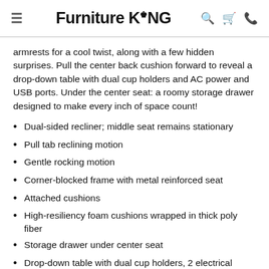Furniture King
armrests for a cool twist, along with a few hidden surprises. Pull the center back cushion forward to reveal a drop-down table with dual cup holders and AC power and USB ports. Under the center seat: a roomy storage drawer designed to make every inch of space count!
Dual-sided recliner; middle seat remains stationary
Pull tab reclining motion
Gentle rocking motion
Corner-blocked frame with metal reinforced seat
Attached cushions
High-resiliency foam cushions wrapped in thick poly fiber
Storage drawer under center seat
Drop-down table with dual cup holders, 2 electrical